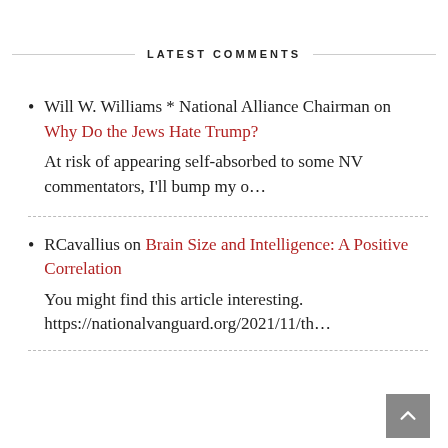LATEST COMMENTS
Will W. Williams * National Alliance Chairman on Why Do the Jews Hate Trump?
At risk of appearing self-absorbed to some NV commentators, I'll bump my o…
RCavallius on Brain Size and Intelligence: A Positive Correlation
You might find this article interesting. https://nationalvanguard.org/2021/11/th…